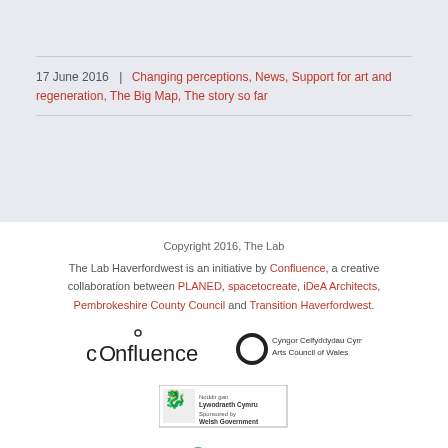17 June 2016  |  Changing perceptions, News, Support for art and regeneration, The Big Map, The story so far
Copyright 2016, The Lab
The Lab Haverfordwest is an initiative by Confluence, a creative collaboration between PLANED, spacetocreate, iDeA Architects, Pembrokeshire County Council and Transition Haverfordwest.
[Figure (logo): Confluence logo - stylized text 'cOnfluence' with a small circle above the O]
[Figure (logo): Cyngor Celfyddydau Cymru / Arts Council of Wales logo - circular ring icon with bilingual text]
[Figure (logo): Welsh Government / Llywodraeth Cymru sponsored logo with dragon crest]
[Figure (logo): The National Lottery - Supported by - through the Arts Council of Wales logo]
[Figure (logo): Y Loteri Genedlaethol - Cefnogwyd gan logo (Welsh language National Lottery)]
[Figure (logo): Additional circular/decorative logo on right]